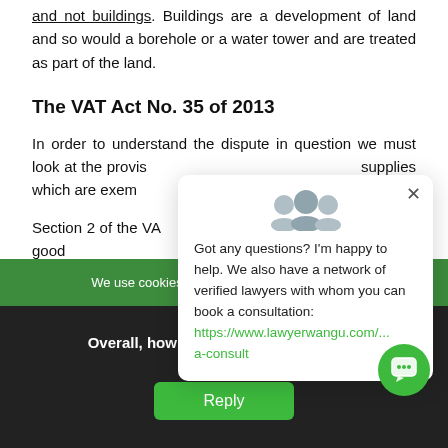and not buildings. Buildings are a development of land and so would a borehole or a water tower and are treated as part of the land.
The VAT Act No. 35 of 2013
In order to understand the dispute in question we must look at the provisions of the VAT Act touching on supplies which are exempt from VAT.
Section 2 of the VAT Act defines 'exempt supplies' means goods or services that are not subject to VAT. Exempt
[Figure (screenshot): Chat popup overlay with avatar icons, close button, text: 'Got any questions? I'm happy to help. We also have a network of verified lawyers with whom you can book a consultation: https://www.lawyerwangu.com/... a-consult']
We use cookies to ensure the best experience on our website.
Overall, how satisfied are you with the website?
Reply